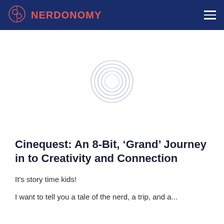NERDONOMY
[Figure (illustration): Loading spinner / circular rings graphic in light blue-gray on white background, centered in the image area]
Cinequest: An 8-Bit, ‘Grand’ Journey in to Creativity and Connection
It’s story time kids!
I want to tell you a tale of the nerd, a trip, and a...